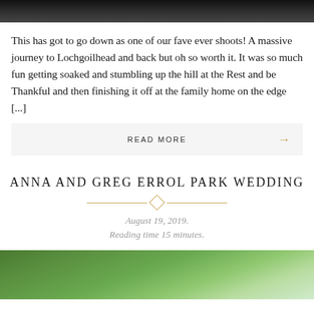[Figure (photo): Top portion of a dark outdoor photo, likely showing people]
This has got to go down as one of our fave ever shoots! A massive journey to Lochgoilhead and back but oh so worth it. It was so much fun getting soaked and stumbling up the hill at the Rest and be Thankful and then finishing it off at the family home on the edge [...]
READ MORE →
ANNA AND GREG ERROL PARK WEDDING
August 19, 2019.
Reading time 15 minutes.
[Figure (photo): Bottom portion showing tree branches against a light sky, beginning of article image for Anna and Greg Errol Park Wedding]